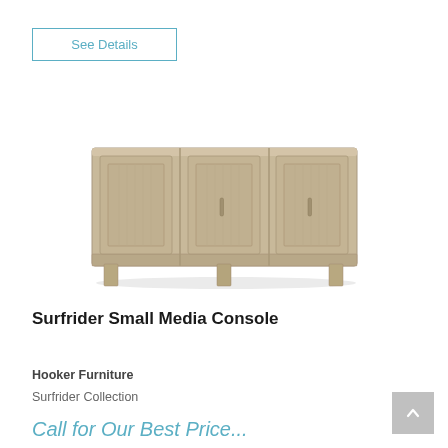See Details
[Figure (photo): A light tan/beige wood media console with three panel doors and metal bar handles, sitting on tapered legs. The console has a Shaker-style panel design on each door.]
Surfrider Small Media Console
Hooker Furniture
Surfrider Collection
Call for Our Best Price...